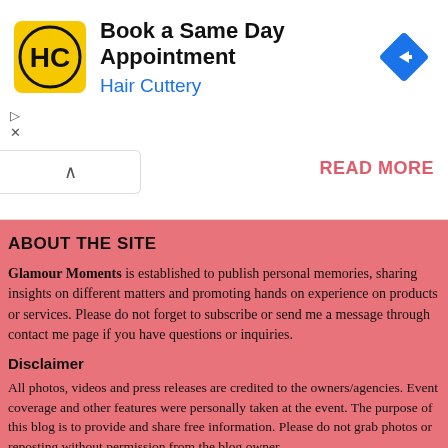[Figure (other): Hair Cuttery advertisement banner: yellow square logo with 'HC' text, headline 'Book a Same Day Appointment', subtext 'Hair Cuttery' in blue, blue diamond arrow icon on right]
READ MORE
ABOUT THE SITE
Glamour Moments is established to publish personal memories, sharing insights on different matters and promoting hands on experience on products or services. Please do not forget to subscribe or send me a message through contact me page if you have questions or inquiries.
Disclaimer
All photos, videos and press releases are credited to the owners/agencies. Event coverage and other features were personally taken at the event. The purpose of this blog is to provide and share free information. Please do not grab photos or reposting without permission from the blog owner.